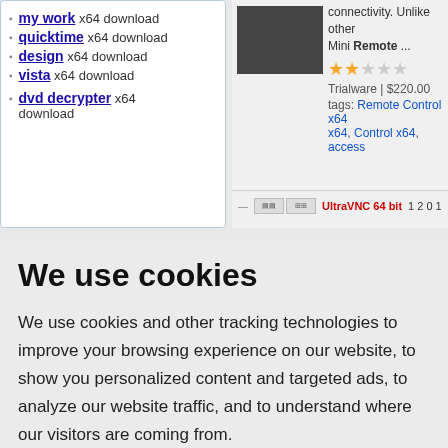my work x64 download
quicktime x64 download
design x64 download
vista x64 download
dvd decrypter x64 download
connectivity. Unlike other Mini Remote ...
Trialware | $220.00
tags: Remote Control x64, x64, Control x64, access
UltraVNC 64 bit 1 2 0 1
We use cookies
We use cookies and other tracking technologies to improve your browsing experience on our website, to show you personalized content and targeted ads, to analyze our website traffic, and to understand where our visitors are coming from.
I agree
Change my preferences